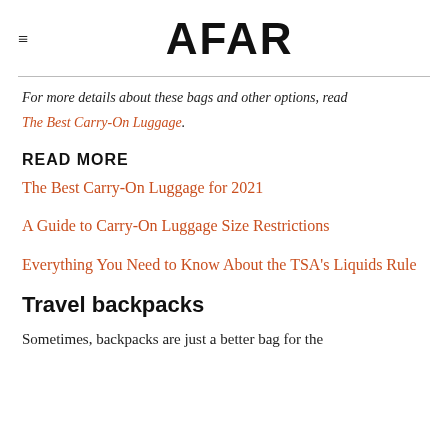AFAR
For more details about these bags and other options, read The Best Carry-On Luggage.
READ MORE
The Best Carry-On Luggage for 2021
A Guide to Carry-On Luggage Size Restrictions
Everything You Need to Know About the TSA's Liquids Rule
Travel backpacks
Sometimes, backpacks are just a better bag for the